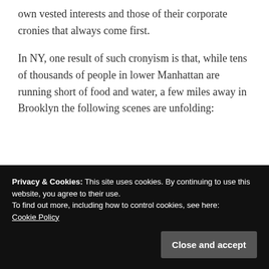own vested interests and those of their corporate cronies that always come first.
In NY, one result of such cronyism is that, while tens of thousands of people in lower Manhattan are running short of food and water, a few miles away in Brooklyn the following scenes are unfolding:
Privacy & Cookies: This site uses cookies. By continuing to use this website, you agree to their use.
To find out more, including how to control cookies, see here:
Cookie Policy
Close and accept